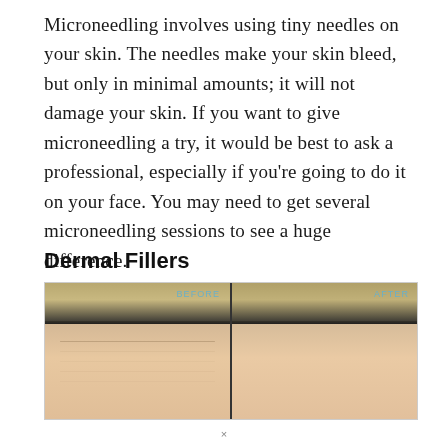Microneedling involves using tiny needles on your skin. The needles make your skin bleed, but only in minimal amounts; it will not damage your skin. If you want to give microneedling a try, it would be best to ask a professional, especially if you're going to do it on your face. You may need to get several microneedling sessions to see a huge difference.
Dermal Fillers
[Figure (photo): Before and after comparison photo showing a person's forehead, wearing a black hairband. Left panel labeled BEFORE shows forehead with wrinkles; right panel labeled AFTER shows smoother forehead after dermal filler treatment.]